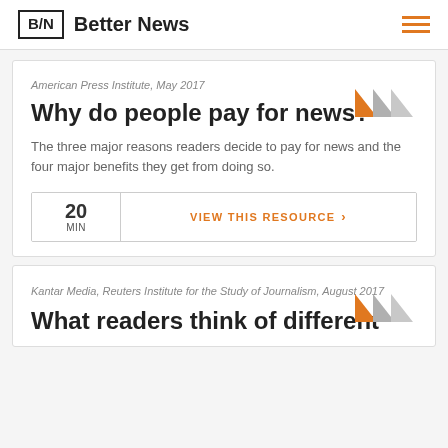B/N Better News
American Press Institute, May 2017
Why do people pay for news?
The three major reasons readers decide to pay for news and the four major benefits they get from doing so.
20 MIN  VIEW THIS RESOURCE >
Kantar Media, Reuters Institute for the Study of Journalism, August 2017
What readers think of different